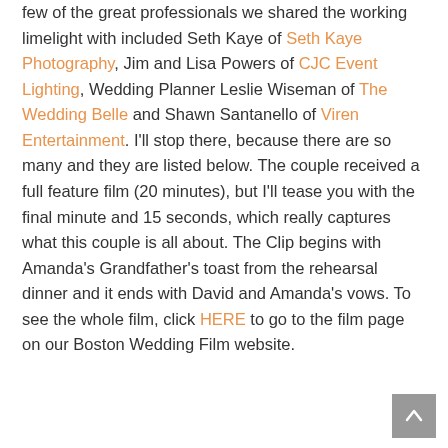few of the great professionals we shared the working limelight with included Seth Kaye of Seth Kaye Photography, Jim and Lisa Powers of CJC Event Lighting, Wedding Planner Leslie Wiseman of The Wedding Belle and Shawn Santanello of Viren Entertainment. I'll stop there, because there are so many and they are listed below. The couple received a full feature film (20 minutes), but I'll tease you with the final minute and 15 seconds, which really captures what this couple is all about. The Clip begins with Amanda's Grandfather's toast from the rehearsal dinner and it ends with David and Amanda's vows. To see the whole film, click HERE to go to the film page on our Boston Wedding Film website.